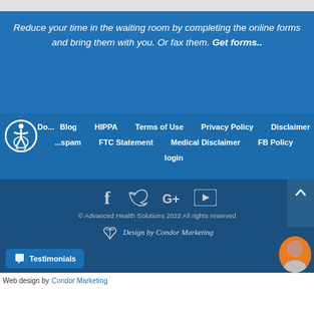Reduce your time in the waiting room by completing the online forms and bring them with you. Or fax them. Get forms..
Do... Blog  HIPPA  Terms of Use  Privacy Policy  Disclaimer  ...spam  FTC Statement  Medical Disclaimer  FB Policy  login
[Figure (other): Social media icons: Facebook, Twitter, Google+, YouTube]
© Advanced Health Solutions 2022 All rights reserved
[Figure (logo): Design by Condor Marketing logo with bird illustration]
Testimonials button
Web design by Condor Marketing